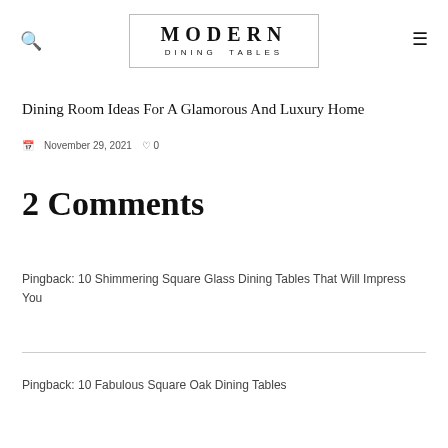MODERN DINING TABLES
Dining Room Ideas For A Glamorous And Luxury Home
November 29, 2021  ♡ 0
2 Comments
Pingback: 10 Shimmering Square Glass Dining Tables That Will Impress You
Pingback: 10 Fabulous Square Oak Dining Tables